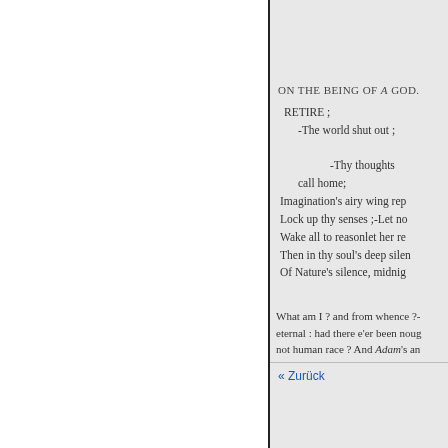ON THE BEING OF A GOD.
RETIRE ;
-The world shut out ;
-Thy thoughts
call home;
Imagination's airy wing rep
Lock up thy senses ;-Let no
Wake all to reasonlet her re
Then in thy soul's deep silen
Of Nature's silence, midnig
What am I ? and from whence ?-
eternal : had there e'er been noug
not human race ? And Adam's an
« Zurück